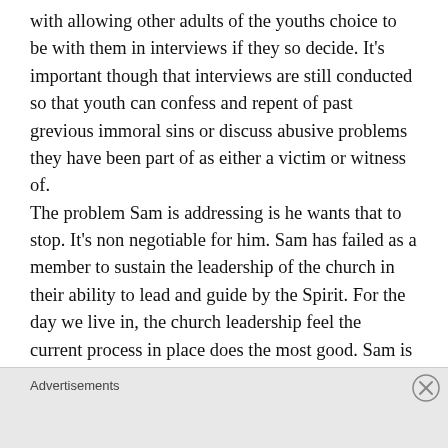with allowing other adults of the youths choice to be with them in interviews if they so decide. It's important though that interviews are still conducted so that youth can confess and repent of past grevious immoral sins or discuss abusive problems they have been part of as either a victim or witness of.
The problem Sam is addressing is he wants that to stop. It's non negotiable for him. Sam has failed as a member to sustain the leadership of the church in their ability to lead and guide by the Spirit. For the day we live in, the church leadership feel the current process in place does the most good. Sam is not accepting of that and
Advertisements